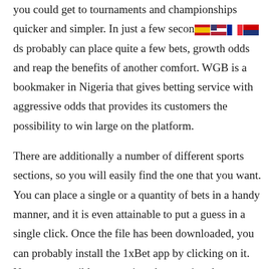you could get to tournaments and championships quicker and simpler. In just a few seconds probably can place quite a few bets, growth odds and reap the benefits of another comfort. WGB is a bookmaker in Nigeria that gives betting service with aggressive odds that provides its customers the possibility to win large on the platform.
There are additionally a number of different sports sections, so you will easily find the one that you want. You can place a single or a quantity of bets in a handy manner, and it is even attainable to put a guess in a single click. Once the file has been downloaded, you can probably install the 1xBet app by clicking on it. Now you possibly can register by opening the applying, urgent on the Registration